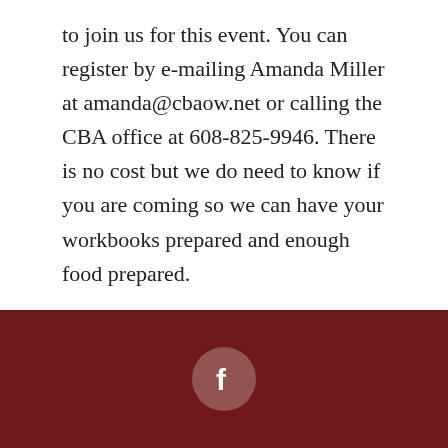to join us for this event. You can register by e-mailing Amanda Miller at amanda@cbaow.net or calling the CBA office at 608-825-9946. There is no cost but we do need to know if you are coming so we can have your workbooks prepared and enough food prepared.
I pray God uses this teaching for years to come in a might way throughout our churches.
[Figure (logo): Facebook icon in a rounded circle on a dark red footer background]